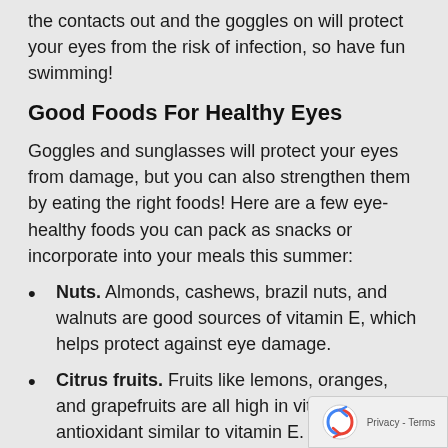the contacts out and the goggles on will protect your eyes from the risk of infection, so have fun swimming!
Good Foods For Healthy Eyes
Goggles and sunglasses will protect your eyes from damage, but you can also strengthen them by eating the right foods! Here are a few eye-healthy foods you can pack as snacks or incorporate into your meals this summer:
Nuts. Almonds, cashews, brazil nuts, and walnuts are good sources of vitamin E, which helps protect against eye damage.
Citrus fruits. Fruits like lemons, oranges, and grapefruits are all high in vitamin C, an antioxidant similar to vitamin E.
Eggs. Eggs are high in lutein, which hel... reduce sight loss, and they're also very high...